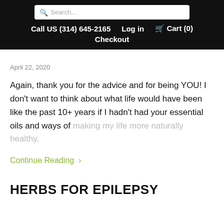Search... | Call US (314) 645-2165  Log in  Cart (0)  Checkout
April 22, 2020
Again, thank you for the advice and for being YOU! I don't want to think about what life would have been like the past 10+ years if I hadn't had your essential oils and ways of making my life more naturally healthy.
Continue Reading >
HERBS FOR EPILEPSY